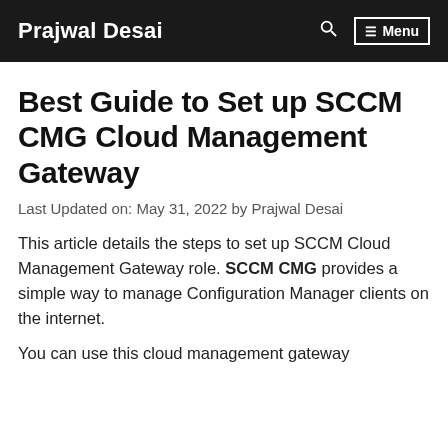Prajwal Desai   🔍   ☰ Menu
Best Guide to Set up SCCM CMG Cloud Management Gateway
Last Updated on: May 31, 2022 by Prajwal Desai
This article details the steps to set up SCCM Cloud Management Gateway role. SCCM CMG provides a simple way to manage Configuration Manager clients on the internet.
You can use this cloud management gateway